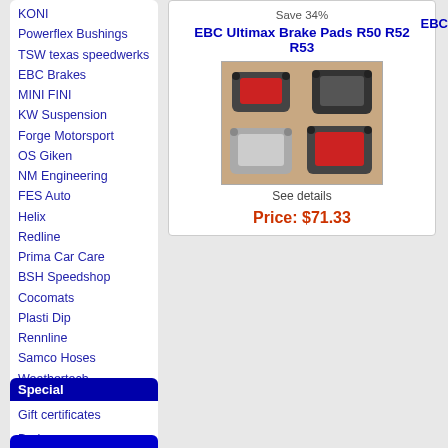KONI
Powerflex Bushings
TSW texas speedwerks
EBC Brakes
MINI FINI
KW Suspension
Forge Motorsport
OS Giken
NM Engineering
FES Auto
Helix
Redline
Prima Car Care
BSH Speedshop
Cocomats
Plasti Dip
Rennline
Samco Hoses
Weathertech
Fel-Pro
Remus
Borla
Eibach
Quicksilver
Dinan
Airtec
Special
Gift certificates
Services
Save 34%
EBC Ultimax Brake Pads R50 R52 R53
[Figure (photo): Photo of EBC Ultimax brake pads set showing four brake pad pieces on a tan background]
See details
Price: $71.33
EBC